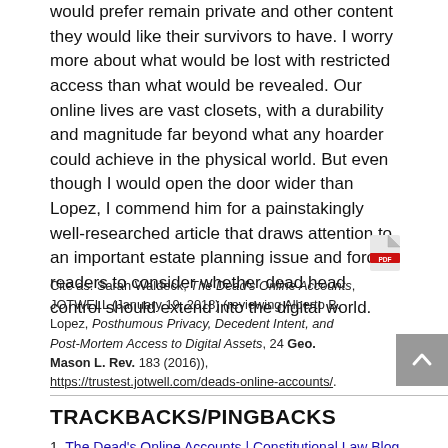would prefer remain private and other content they would like their survivors to have. I worry more about what would be lost with restricted access than what would be revealed. Our online lives are vast closets, with a durability and magnitude far beyond what any hoarder could achieve in the physical world. But even though I would open the door wider than Lopez, I commend him for a painstakingly well-researched article that draws attention to an important estate planning issue and forces readers to consider whether dead head control should extend into the digital world.
[Figure (other): PDF download icon (red Adobe PDF-style icon)]
Cite as: Sarah Waldeck, The Dead's Online Accounts, JOTWELL (January 19, 2018) (reviewing Alberto B. Lopez, Posthumous Privacy, Decedent Intent, and Post-Mortem Access to Digital Assets, 24 Geo. Mason L. Rev. 183 (2016)), https://trustest.jotwell.com/deads-online-accounts/.
TRACKBACKS/PINGBACKS
1. The Dead's Online Accounts | Constitutional Law Blog Review - […] Read more… […]
2. 'The Dead's Online Accounts' | Private Law Theory - Obligations, property, legal theory - […] Alberto B...